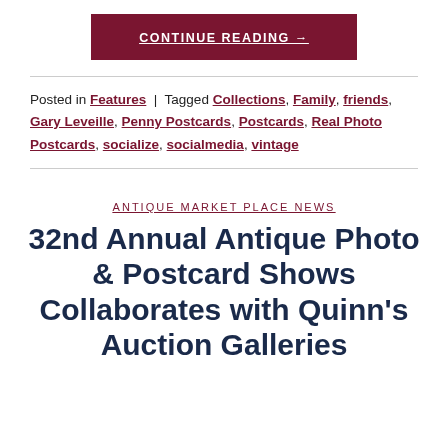CONTINUE READING →
Posted in Features | Tagged Collections, Family, friends, Gary Leveille, Penny Postcards, Postcards, Real Photo Postcards, socialize, socialmedia, vintage
ANTIQUE MARKET PLACE NEWS
32nd Annual Antique Photo & Postcard Shows Collaborates with Quinn's Auction Galleries